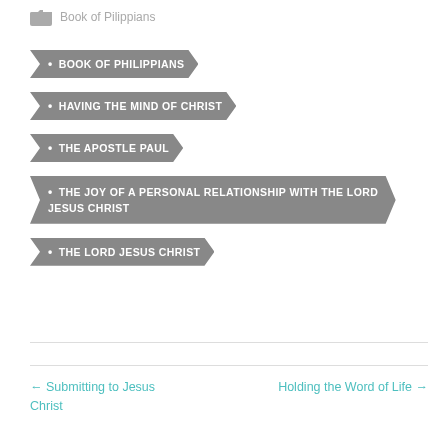Book of Pilippians
BOOK OF PHILIPPIANS
HAVING THE MIND OF CHRIST
THE APOSTLE PAUL
THE JOY OF A PERSONAL RELATIONSHIP WITH THE LORD JESUS CHRIST
THE LORD JESUS CHRIST
← Submitting to Jesus Christ    Holding the Word of Life →